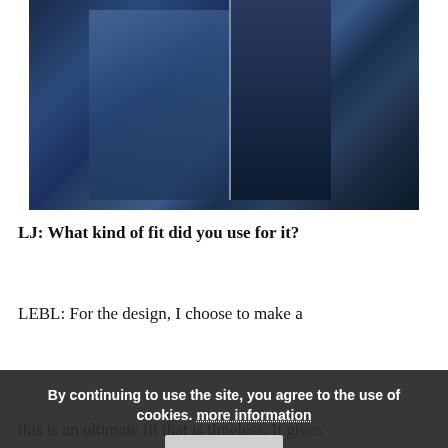[Figure (photo): Close-up photograph of dark indigo denim fabric with zipper detail, showing the construction and texture of jeans.]
LJ: What kind of fit did you use for it?
LEBL: For the design, I choose to make a pleated trouser. The fit of it has a dropped crotch for easy and relaxed comfort, and it's straight towards the bottom. For me personally, this is an ultimate fit that is timeless. It gives
By continuing to use the site, you agree to the use of cookies. more information Accept